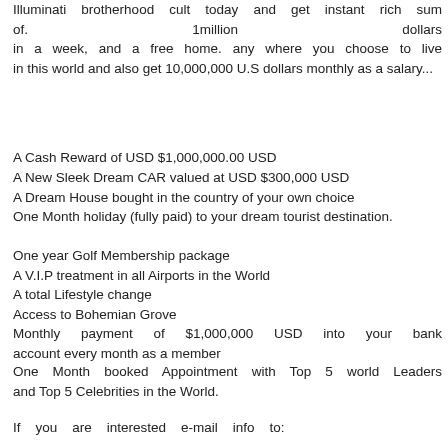Illuminati brotherhood cult today and get instant rich sum of. 1million dollars in a week, and a free home. any where you choose to live in this world and also get 10,000,000 U.S dollars monthly as a salary...
A Cash Reward of USD $1,000,000.00 USD
A New Sleek Dream CAR valued at USD $300,000 USD
A Dream House bought in the country of your own choice
One Month holiday (fully paid) to your dream tourist destination.
One year Golf Membership package
A V.I.P treatment in all Airports in the World
A total Lifestyle change
Access to Bohemian Grove
Monthly payment of $1,000,000 USD into your bank account every month as a member
One Month booked Appointment with Top 5 world Leaders and Top 5 Celebrities in the World.
If you are interested e-mail info to: